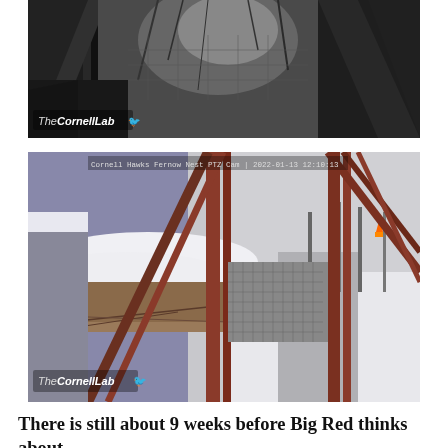[Figure (photo): Black and white night-vision style camera image of a hawk nest structure, showing steel girders and treetops from above. The Cornell Lab watermark is visible in the lower left.]
[Figure (photo): Color camera image of a hawk nest on a steel bridge/trestle structure covered in snow. The nest platform with snow-covered materials is visible. The Cornell Lab watermark is in the lower left. Timestamp reads: Cornell Hawks Fernow Nest PTZ Cam | 2022-01-13 12:10:13]
There is still about 9 weeks before Big Red thinks about